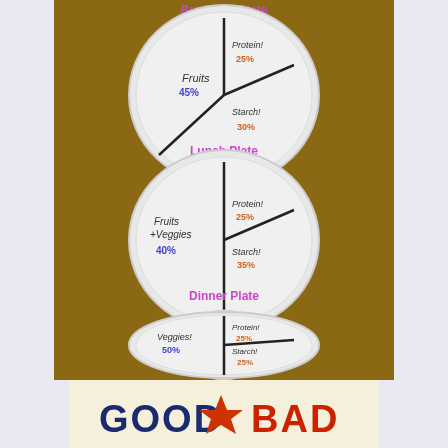[Figure (photo): Three paper plates labeled 'Breakfast Plate', 'Lunch Plate', and 'Dinner Plate', each divided into sections showing food group percentages. Breakfast Plate: Fruits 45%, Protein 25%, Starch 30%. Lunch Plate: Fruits & Veggies 40%, Protein 25%, Starch 35%. Dinner Plate: Veggies 50%, Protein 25%, Starch 25%.]
[Figure (logo): Good vs Bad banner/logo with 'GOOD' in dark blue bold letters and 'BAD' in red bold letters with a small graphic between them, on a cream/tan background.]